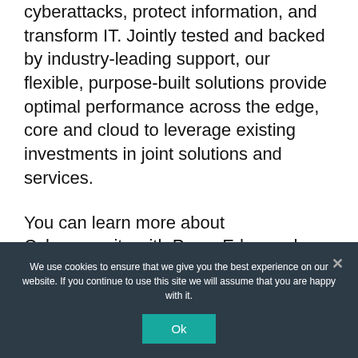cyberattacks, protect information, and transform IT. Jointly tested and backed by industry-leading support, our flexible, purpose-built solutions provide optimal performance across the edge, core and cloud to leverage existing investments in joint solutions and services.
You can learn more about Cybersecurity with PowerEdge and VMware here and Securing Business with PowerEdge and VMware here.
¹ VMware, VMware Global Insights Security Report, June 2021
We use cookies to ensure that we give you the best experience on our website. If you continue to use this site we will assume that you are happy with it.